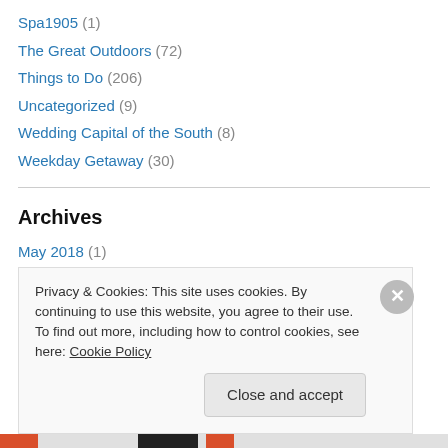Spa1905 (1)
The Great Outdoors (72)
Things to Do (206)
Uncategorized (9)
Wedding Capital of the South (8)
Weekday Getaway (30)
Archives
May 2018 (1)
April 2018 (1)
March 2018 (4)
Privacy & Cookies: This site uses cookies. By continuing to use this website, you agree to their use.
To find out more, including how to control cookies, see here: Cookie Policy
Close and accept